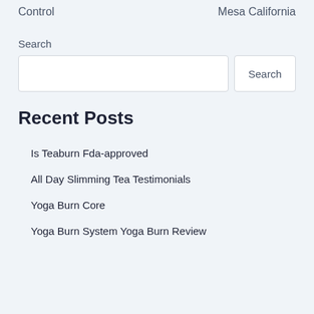Control    Mesa California
Search
Recent Posts
Is Teaburn Fda-approved
All Day Slimming Tea Testimonials
Yoga Burn Core
Yoga Burn System Yoga Burn Review